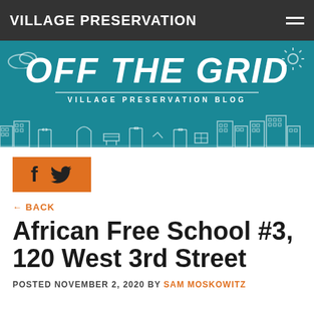VILLAGE PRESERVATION
[Figure (illustration): Off The Grid – Village Preservation Blog banner with teal background, white illustrated cityscape at bottom, decorative clouds and sun icons]
[Figure (other): Orange social share bar with Facebook and Twitter icons]
← BACK
African Free School #3, 120 West 3rd Street
POSTED NOVEMBER 2, 2020 BY SAM MOSKOWITZ